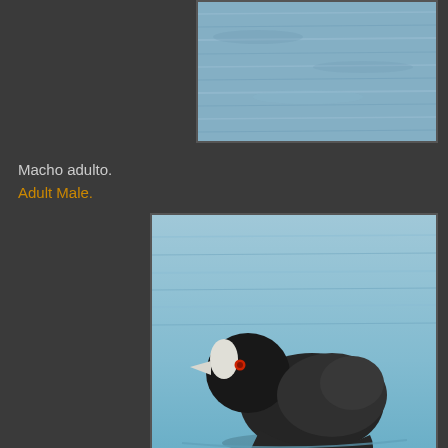[Figure (photo): Partial photo of water surface with rippled blue-gray water, top portion of the page.]
Macho adulto.
Adult Male.
[Figure (photo): A black Common Coot (Fulica atra) swimming on calm blue water with its white bill shield clearly visible. The bird's reflection is visible in the water below.]
Focha común (Fulica atra).
Common Coot.
[Figure (photo): Bottom partial photo showing vegetation with green reeds and dried plant stalks.]